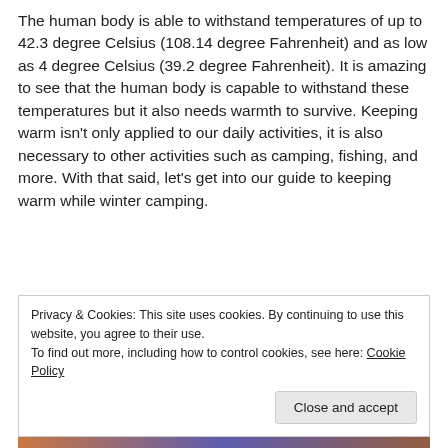The human body is able to withstand temperatures of up to 42.3 degree Celsius (108.14 degree Fahrenheit) and as low as 4 degree Celsius (39.2 degree Fahrenheit). It is amazing to see that the human body is capable to withstand these temperatures but it also needs warmth to survive. Keeping warm isn't only applied to our daily activities, it is also necessary to other activities such as camping, fishing, and more. With that said, let's get into our guide to keeping warm while winter camping.
Privacy & Cookies: This site uses cookies. By continuing to use this website, you agree to their use.
To find out more, including how to control cookies, see here: Cookie Policy
Close and accept
[Figure (photo): Bottom portion of an outdoor/camping photo visible at the bottom edge of the page]